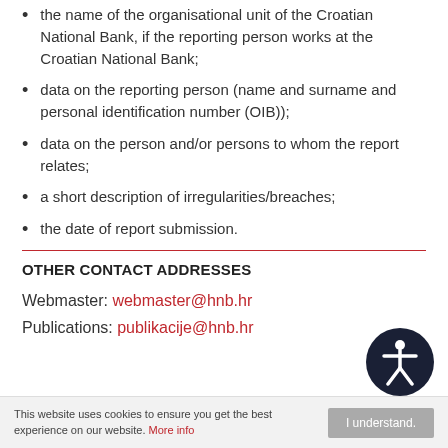the name of the organisational unit of the Croatian National Bank, if the reporting person works at the Croatian National Bank;
data on the reporting person (name and surname and personal identification number (OIB));
data on the person and/or persons to whom the report relates;
a short description of irregularities/breaches;
the date of report submission.
OTHER CONTACT ADDRESSES
Webmaster: webmaster@hnb.hr
Publications: publikacije@hnb.hr
[Figure (other): Accessibility icon — white person figure on dark navy circular background]
This website uses cookies to ensure you get the best experience on our website. More info
I understand.